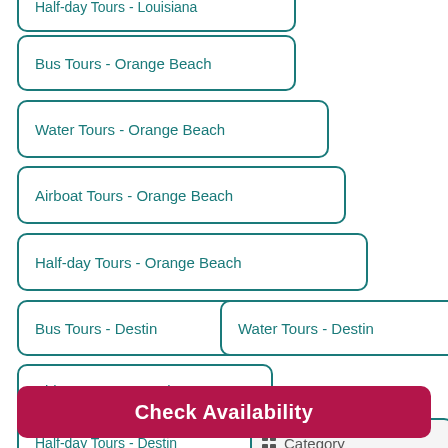Half-day Tours - Louisiana
Bus Tours - Orange Beach
Water Tours - Orange Beach
Airboat Tours - Orange Beach
Half-day Tours - Orange Beach
Bus Tours - Destin
Water Tours - Destin
Airboat Tours - Destin
Half-day Tours - Destin
Category
Check Availability